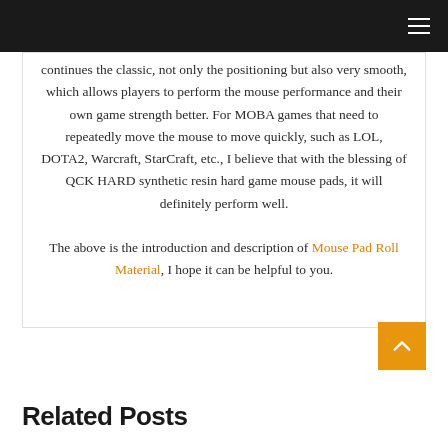continues the classic, not only the positioning but also very smooth, which allows players to perform the mouse performance and their own game strength better. For MOBA games that need to repeatedly move the mouse to move quickly, such as LOL, DOTA2, Warcraft, StarCraft, etc., I believe that with the blessing of QCK HARD synthetic resin hard game mouse pads, it will definitely perform well.

The above is the introduction and description of Mouse Pad Roll Material, I hope it can be helpful to you.
Related Posts